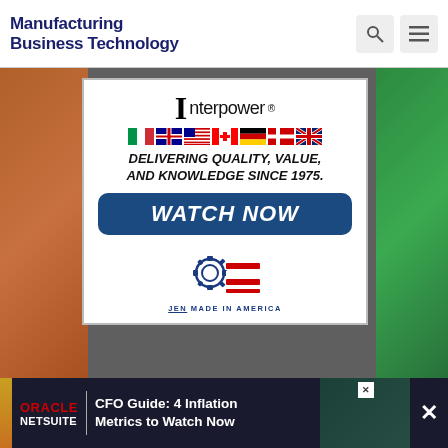Manufacturing Business Technology
[Figure (advertisement): Interpower advertisement: chess piece logo, 'interpower' brand name, row of country flags (Italy, Australia, USA, Canada, Germany, Denmark, UK), bold italic text 'DELIVERING QUALITY, VALUE, AND KNOWLEDGE SINCE 1975.', blue rounded button 'WATCH NOW', JEN Made in America gear/flag logo]
[Figure (advertisement): Oracle NetSuite banner ad: 'ORACLE NETSUITE' logo in red/white, divider line, text 'CFO Guide: 4 Inflation Metrics to Watch Now', close button X, green background accent]